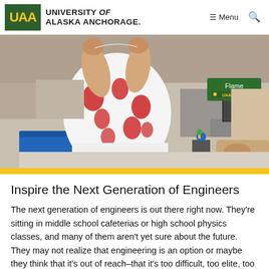University of Alaska Anchorage — Menu (navigation header)
[Figure (photo): A student in a white and red floral shirt works with hands on a project at a lab table. A blue bin is visible in the foreground. In the background, a nameplate reads 'Flame' with a UAA logo, and another person leans over the table.]
Inspire the Next Generation of Engineers
The next generation of engineers is out there right now. They're sitting in middle school cafeterias or high school physics classes, and many of them aren't yet sure about the future. They may not realize that engineering is an option or maybe they think that it's out of reach–that it's too difficult, too elite, too esoteric. Well, that's where the College of Engineering and our activities come into play. We aim to...